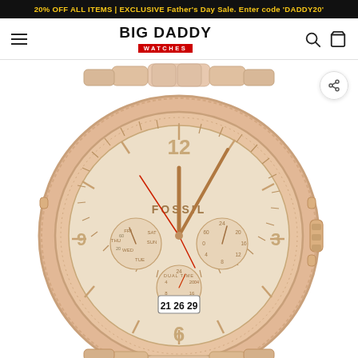20% OFF ALL ITEMS | EXCLUSIVE Father's Day Sale. Enter code 'DADDY20'
[Figure (logo): Big Daddy Watches logo with hamburger menu, search icon, and cart icon in navigation bar]
[Figure (photo): Rose gold Fossil chronograph watch with metal bracelet, multi-function dial showing day, date, and 24-hour subdials, displayed on white background]